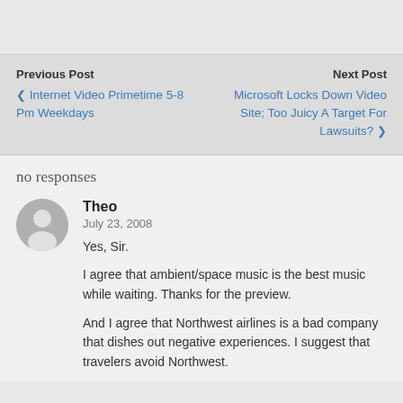Previous Post
❮ Internet Video Primetime 5-8 Pm Weekdays
Next Post
Microsoft Locks Down Video Site; Too Juicy A Target For Lawsuits? ❯
no responses
Theo
July 23, 2008
Yes, Sir.
I agree that ambient/space music is the best music while waiting. Thanks for the preview.
And I agree that Northwest airlines is a bad company that dishes out negative experiences. I suggest that travelers avoid Northwest.